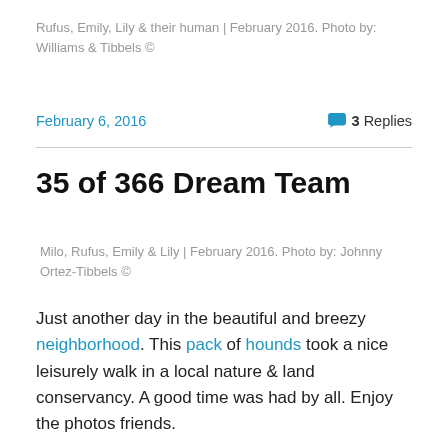Rufus, Emily, Lily & their human | February 2016. Photo by: Williams & Tibbels ©
February 6, 2016
3 Replies
35 of 366 Dream Team
Milo, Rufus, Emily & Lily | February 2016. Photo by: Johnny Ortez-Tibbels ©
Just another day in the beautiful and breezy neighborhood. This pack of hounds took a nice leisurely walk in a local nature & land conservancy. A good time was had by all. Enjoy the photos friends.